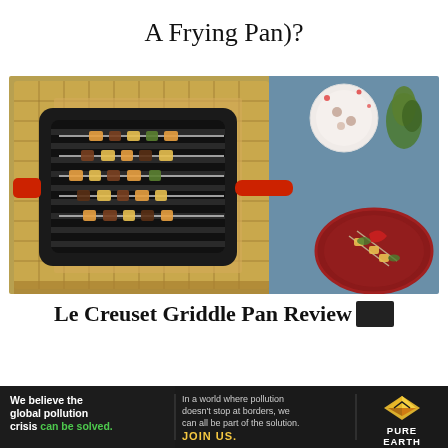A Frying Pan)?
[Figure (photo): Overhead photo of a Le Creuset red cast iron square grill pan with skewers of grilled food (vegetables and meat) on a woven mat background, with a small decorative plate top right, fresh herbs, and a red Le Creuset plate bottom right with food items, all on a blue-grey surface.]
Le Creuset Griddle Pan Review
[Figure (infographic): Pure Earth advertisement banner: dark background. Left section reads 'We believe the global pollution crisis can be solved.' (with 'can be solved.' in green). Middle section reads 'In a world where pollution doesn't stop at borders, we can all be part of the solution. JOIN US.' Right section shows Pure Earth logo (diamond/arrow icon) and text 'PURE EARTH'.]